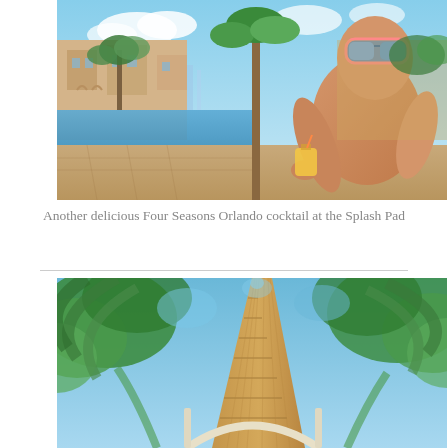[Figure (photo): Man with mirrored sunglasses sitting shirtless by a resort pool, holding a tropical cocktail. Resort buildings and palm trees visible in background. Wide-angle shot at Four Seasons Orlando.]
Another delicious Four Seasons Orlando cocktail at the Splash Pad
[Figure (photo): Low-angle upward shot looking up through a tall wicker/rattan conical structure or cabana, surrounded by palm trees and lush green foliage against a blue sky.]